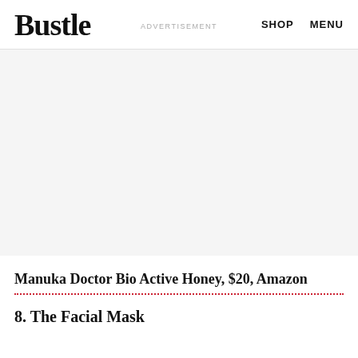Bustle   ADVERTISEMENT   SHOP   MENU
[Figure (other): Gray advertisement placeholder area]
Manuka Doctor Bio Active Honey, $20, Amazon
8. The Facial Mask